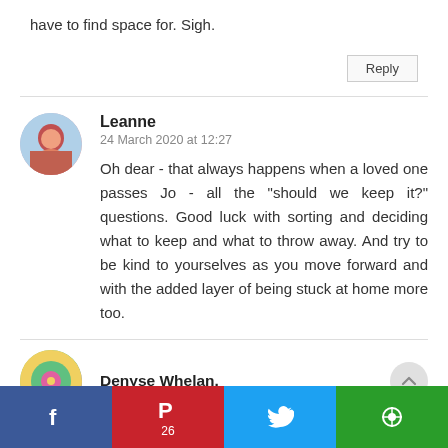have to find space for. Sigh.
Reply
Leanne
24 March 2020 at 12:27

Oh dear - that always happens when a loved one passes Jo - all the "should we keep it?" questions. Good luck with sorting and deciding what to keep and what to throw away. And try to be kind to yourselves as you move forward and with the added layer of being stuck at home more too.
Denyse Whelan.